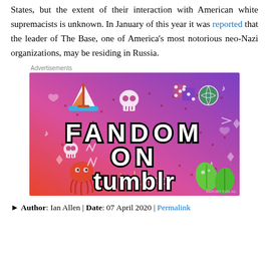States, but the extent of their interaction with American white supremacists is unknown. In January of this year it was reported that the leader of The Base, one of America's most notorious neo-Nazi organizations, may be residing in Russia.
[Figure (illustration): Advertisement banner for 'Fandom on Tumblr' — colorful gradient background from orange/red to purple with illustrated stickers (sailboat, skull, dice, octopus, leaves) and bold text reading FANDOM ON tumblr.]
► Author: Ian Allen | Date: 07 April 2020 | Permalink